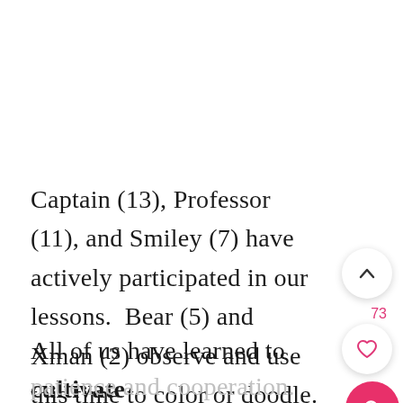Captain (13), Professor (11), and Smiley (7) have actively participated in our lessons.  Bear (5) and Xman (2) observe and use this time to color or doodle.
All of us have learned to cultivate
patience and cooperation.  Calligraphy may look easy but we have learned that